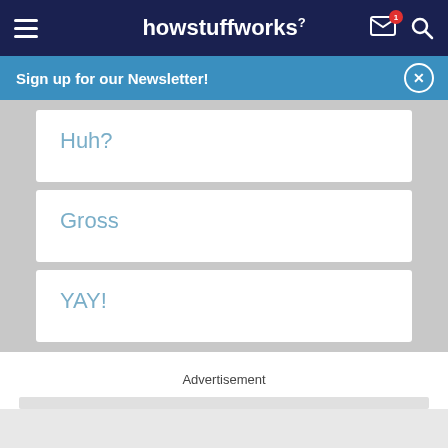howstuffworks
Sign up for our Newsletter!
Huh?
Gross
YAY!
Advertisement